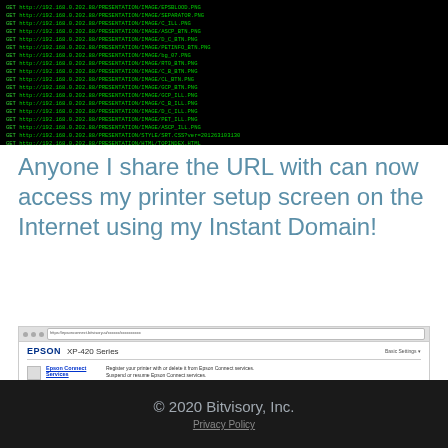[Figure (screenshot): Terminal/console window showing green HTTP log lines on black background listing multiple image file URLs from 192.168.0.202 server]
Anyone I share the URL with can now access my printer setup screen on the Internet using my Instant Domain!
[Figure (screenshot): Browser screenshot showing Epson XP-420 Series printer web interface with Basic Settings panel listing Epson Connect Services, Google Cloud Print Services, DNS/Proxy Setup, Firmware Update, Root Certificate Update, AirPrint Setup, and Printer Information options]
© 2020 Bitvisory, Inc.